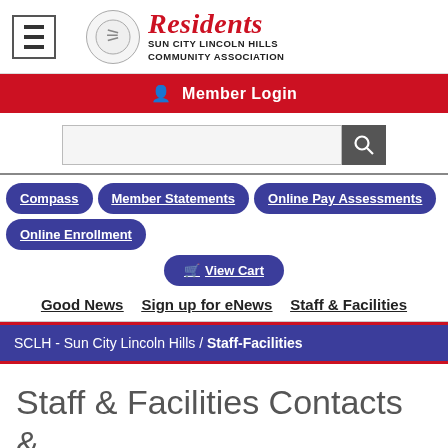[Figure (screenshot): Sun City Lincoln Hills Community Association Residents logo with circular emblem and red italic script 'Residents' text above 'SUN CITY LINCOLN HILLS COMMUNITY ASSOCIATION']
Member Login
[Figure (screenshot): Search input field with magnifying glass search button]
Compass
Member Statements
Online Pay Assessments
Online Enrollment
View Cart
Good News   Sign up for eNews   Staff & Facilities
SCLH - Sun City Lincoln Hills / Staff-Facilities
Staff & Facilities Contacts & General Information